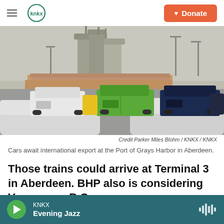KNKX | Donate
[Figure (photo): Jeep Wranglers and other vehicles awaiting international export at port, with large industrial silos and stacked logs in the background.]
Credit Parker Miles Blohm / KNKX / KNKX
Cars await international export at the Port of Grays Harbor in Aberdeen.
Those trains could arrive at Terminal 3 in Aberdeen. BHP also is considering Vancouver, B.C.
KNKX Evening Jazz